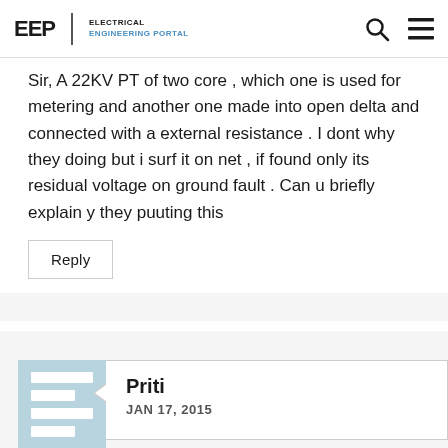EEP | Electrical Engineering Portal
Sir, A 22KV PT of two core , which one is used for metering and another one made into open delta and connected with a external resistance . I dont why they doing but i surf it on net , if found only its residual voltage on ground fault . Can u briefly explain y they puuting this
Reply
Priti
JAN 17, 2015